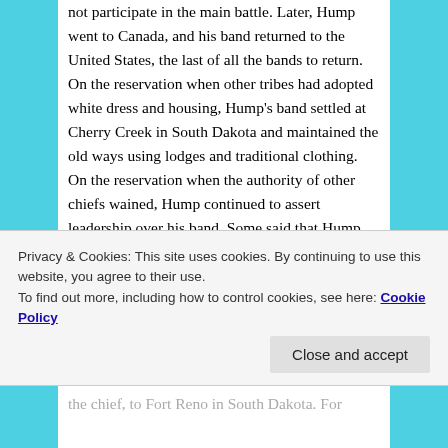not participate in the main battle. Later, Hump went to Canada, and his band returned to the United States, the last of all the bands to return. On the reservation when other tribes had adopted white dress and housing, Hump's band settled at Cherry Creek in South Dakota and maintained the old ways using lodges and traditional clothing. On the reservation when the authority of other chiefs wained, Hump continued to assert leadership over his band. Some said that Hump was feared by the whites even more than Sitting Bull. When the Ghost Dance religion surfaced among the Sioux, the military did not dare arrest Hump. Instead, they reassigned Captain Ezra Ewers, a trusted friend of the chief, to Fort Reno in South Dakota. For...
Privacy & Cookies: This site uses cookies. By continuing to use this website, you agree to their use.
To find out more, including how to control cookies, see here: Cookie Policy
Close and accept
(bottom text partially visible)